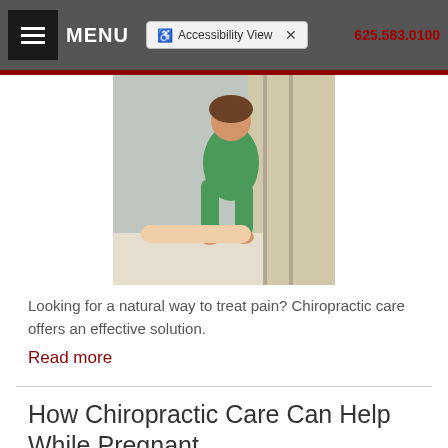MENU | Accessibility View | phone number
[Figure (photo): Chiropractor treating a patient, person in green scrubs adjusting arm/shoulder of patient on table]
Looking for a natural way to treat pain? Chiropractic care offers an effective solution.
Read more
How Chiropractic Care Can Help While Pregnant
Category: Newsletter Library
[Figure (photo): Partial image of a pregnant woman receiving chiropractic care]